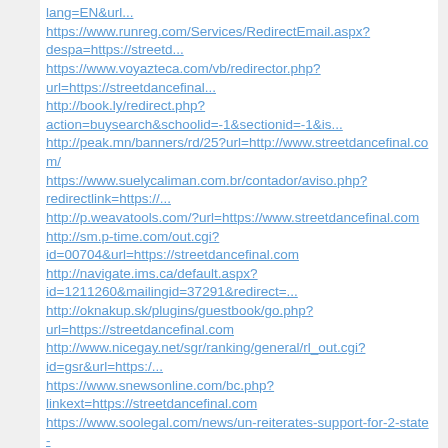...lang=EN&url...
https://www.runreg.com/Services/RedirectEmail.aspx?despa=https://streetd...
https://www.voyazteca.com/vb/redirector.php?url=https://streetdancefinal...
http://book.ly/redirect.php?action=buysearch&schoolid=-1&sectionid=-1&is...
http://peak.mn/banners/rd/25?url=http://www.streetdancefinal.com/
https://www.suelycaliman.com.br/contador/aviso.php?redirectlink=https://...
http://p.weavatools.com/?url=https://www.streetdancefinal.com
http://sm.p-time.com/out.cgi?id=00704&url=https://streetdancefinal.com
http://navigate.ims.ca/default.aspx?id=1211260&mailingid=37291&redirect=...
http://oknakup.sk/plugins/guestbook/go.php?url=https://streetdancefinal.com
http://www.nicegay.net/sgr/ranking/general/rl_out.cgi?id=gsr&url=https:/...
https://www.snewsonline.com/bc.php?linkext=https://streetdancefinal.com
https://www.soolegal.com/news/un-reiterates-support-for-2-state-solution...
http://book.ly/redirect.php?action=buysearch&schoolid=-1&sectionid=-1&is...
http://blog.londraweb.com/?wptouch_switch=desktop&redirect=https://stree...
http://barrycrump.co.nz/ra.asp?url=https://streetdancefinal.com
https://www.workplacefairness.org/link?firm=56&url=https://streetdancefi...
https://www.ihads.ru/bitrix/redirect.php?goto=https://streetdancefinal.com